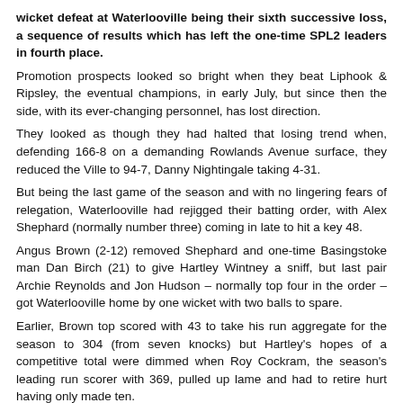wicket defeat at Waterlooville being their sixth successive loss, a sequence of results which has left the one-time SPL2 leaders in fourth place.
Promotion prospects looked so bright when they beat Liphook & Ripsley, the eventual champions, in early July, but since then the side, with its ever-changing personnel, has lost direction.
They looked as though they had halted that losing trend when, defending 166-8 on a demanding Rowlands Avenue surface, they reduced the Ville to 94-7, Danny Nightingale taking 4-31.
But being the last game of the season and with no lingering fears of relegation, Waterlooville had rejigged their batting order, with Alex Shephard (normally number three) coming in late to hit a key 48.
Angus Brown (2-12) removed Shephard and one-time Basingstoke man Dan Birch (21) to give Hartley Wintney a sniff, but last pair Archie Reynolds and Jon Hudson – normally top four in the order – got Waterlooville home by one wicket with two balls to spare.
Earlier, Brown top scored with 43 to take his run aggregate for the season to 304 (from seven knocks) but Hartley's hopes of a competitive total were dimmed when Roy Cockram, the season's leading run scorer with 369, pulled up lame and had to retire hurt having only made ten.